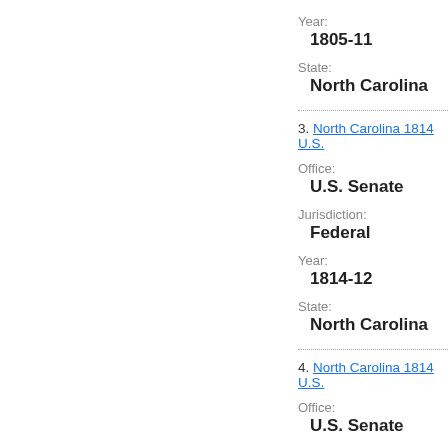Year:
1805-11
State:
North Carolina
3. North Carolina 1814 U.S....
Office:
U.S. Senate
Jurisdiction:
Federal
Year:
1814-12
State:
North Carolina
4. North Carolina 1814 U.S....
Office:
U.S. Senate
Jurisdiction: